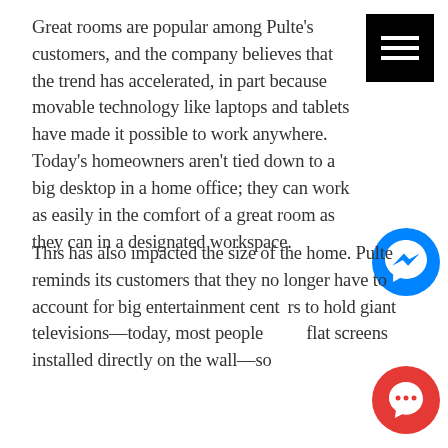Great rooms are popular among Pulte's customers, and the company believes that the trend has accelerated, in part because movable technology like laptops and tablets have made it possible to work anywhere. Today's homeowners aren't tied down to a big desktop in a home office; they can work as easily in the comfort of a great room as they can in a designated workspace.
This has also impacted the size of the home. Pulte reminds its customers that they no longer have to account for big entertainment centers to hold giant televisions—today, most people have flat screens installed directly on the wall—so